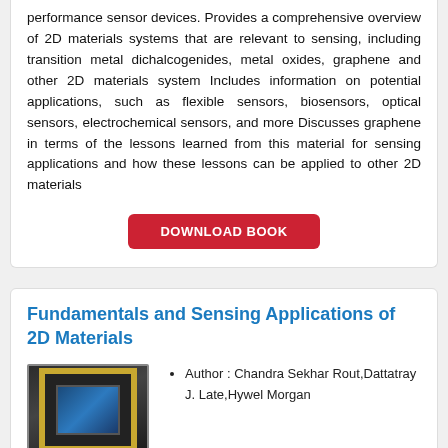performance sensor devices. Provides a comprehensive overview of 2D materials systems that are relevant to sensing, including transition metal dichalcogenides, metal oxides, graphene and other 2D materials system Includes information on potential applications, such as flexible sensors, biosensors, optical sensors, electrochemical sensors, and more Discusses graphene in terms of the lessons learned from this material for sensing applications and how these lessons can be applied to other 2D materials
[Figure (other): Download Book button — red rounded rectangle with white uppercase text 'DOWNLOAD BOOK']
Fundamentals and Sensing Applications of 2D Materials
[Figure (photo): Book cover image with dark background, gold frame, and blue image inside]
Author : Chandra Sekhar Rout,Dattatray J. Late,Hywel Morgan